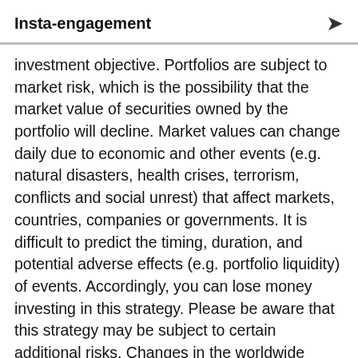Insta-engagement
investment objective. Portfolios are subject to market risk, which is the possibility that the market value of securities owned by the portfolio will decline. Market values can change daily due to economic and other events (e.g. natural disasters, health crises, terrorism, conflicts and social unrest) that affect markets, countries, companies or governments. It is difficult to predict the timing, duration, and potential adverse effects (e.g. portfolio liquidity) of events. Accordingly, you can lose money investing in this strategy. Please be aware that this strategy may be subject to certain additional risks. Changes in the worldwide economy, consumer spending, competition, demographics and consumer preferences, government regulation and economic conditions may adversely affect global franchise companies and may negatively impact the strategy to a greater extent than if the strategy's